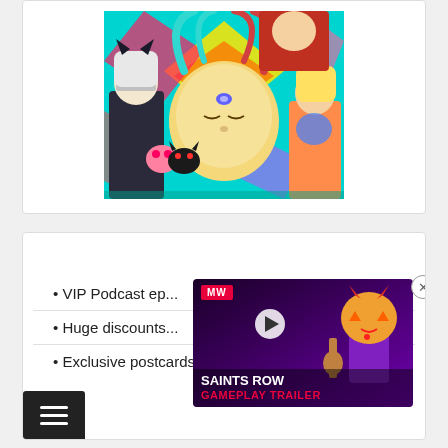[Figure (illustration): Colorful anime-style illustration featuring multiple characters including a silver-haired girl in dark clothing, a large face in the center with closed eyes, and other anime characters in vibrant colors on a geometric patterned background.]
VIP Podcast ep...
Huge discounts...
Exclusive postcards, book previews, and more!
[Figure (screenshot): Saints Row Gameplay Trailer video ad overlay with MW logo, play button, and an animated character with a pumpkin head in purple/pink lighting.]